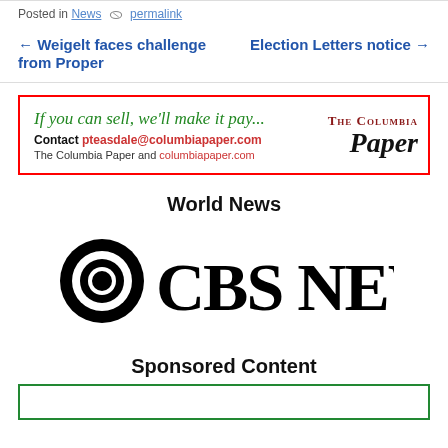Posted in News 🏷 permalink
← Weigelt faces challenge from Proper    Election Letters notice →
[Figure (other): Advertisement banner with red border for The Columbia Paper. Green italic text: 'If you can sell, we'll make it pay...' Contact pteasdale@columbiapaper.com. The Columbia Paper and columbiapaper.com. Logo on right: 'The Columbia Paper' in serif font.]
World News
[Figure (logo): CBS News logo: large CBS eye icon followed by bold CBS NEWS text in serif font]
Sponsored Content
[Figure (other): Sponsored content box with green border, partially visible at bottom]